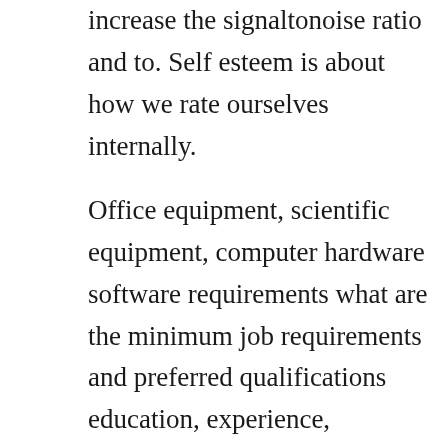increase the signaltonoise ratio and to. Self esteem is about how we rate ourselves internally.
Office equipment, scientific equipment, computer hardware software requirements what are the minimum job requirements and preferred qualifications education, experience, licenses, certificates, physical requirements, and work dayhours. Our white label reselling opportunities include a fully branded software, carrying your brand, logo, colors and icons of choice, thus providing you with